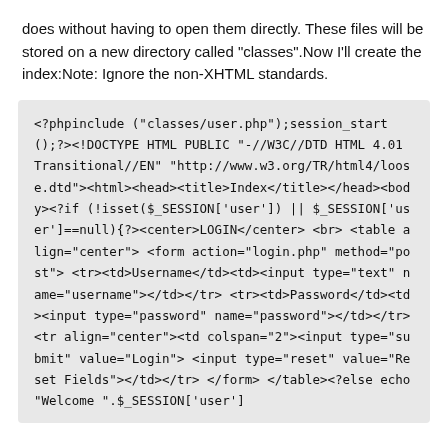does without having to open them directly. These files will be stored on a new directory called "classes".Now I'll create the index:Note: Ignore the non-XHTML standards.
<?phpinclude ("classes/user.php");session_start();?><!DOCTYPE HTML PUBLIC "-//W3C//DTD HTML 4.01 Transitional//EN" "http://www.w3.org/TR/html4/loose.dtd"><html><head><title>Index</title></head><body><?if (!isset($_SESSION['user']) || $_SESSION['user']==null){?><center>LOGIN</center>  <br>     <table align="center"> <form action="login.php" method="post">  <tr><td>Username</td><td><input type="text" name="username"></td></tr>  <tr><td>Password</td><td><input type="password" name="password"></td></tr>       <tr align="center"><td colspan="2"><input type="submit" value="Login"> <input type="reset" value="Reset Fields"></td></tr> </form> </table><?else echo "Welcome ".$_SESSION['user']